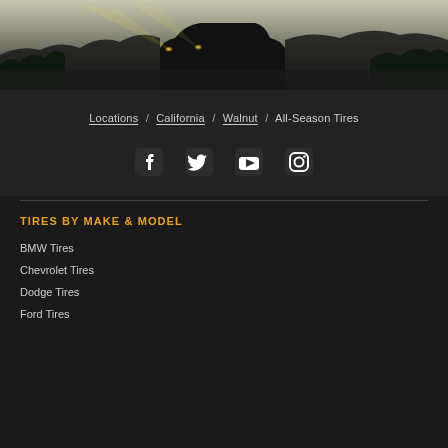[Figure (photo): A jeep with headlights on driving through a rocky off-road trail at dusk, surrounded by scrubby vegetation and dark sky]
Locations / California / Walnut / All-Season Tires
[Figure (other): Social media icons: Facebook, Twitter, YouTube, Instagram]
TIRES BY MAKE & MODEL
BMW Tires
Chevrolet Tires
Dodge Tires
Ford Tires